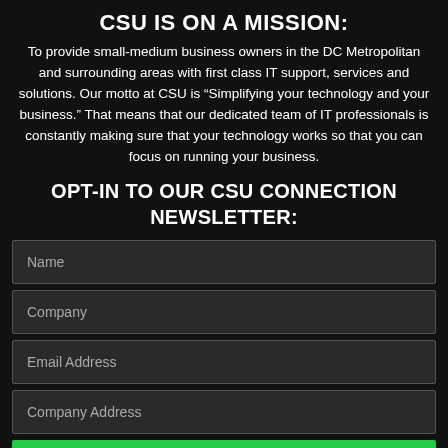CSU IS ON A MISSION:
To provide small-medium business owners in the DC Metropolitan and surrounding areas with first class IT support, services and solutions. Our motto at CSU is “Simplifying your technology and your business.” That means that our dedicated team of IT professionals is constantly making sure that your technology works so that you can focus on running your business.
OPT-IN TO OUR CSU CONNECTION NEWSLETTER:
Name
Company
Email Address
Company Address